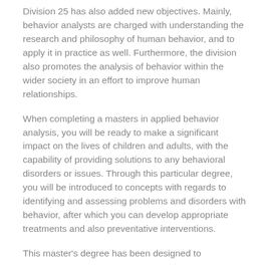Division 25 has also added new objectives. Mainly, behavior analysts are charged with understanding the research and philosophy of human behavior, and to apply it in practice as well. Furthermore, the division also promotes the analysis of behavior within the wider society in an effort to improve human relationships.
When completing a masters in applied behavior analysis, you will be ready to make a significant impact on the lives of children and adults, with the capability of providing solutions to any behavioral disorders or issues. Through this particular degree, you will be introduced to concepts with regards to identifying and assessing problems and disorders with behavior, after which you can develop appropriate treatments and also preventative interventions.
This master's degree has been designed to